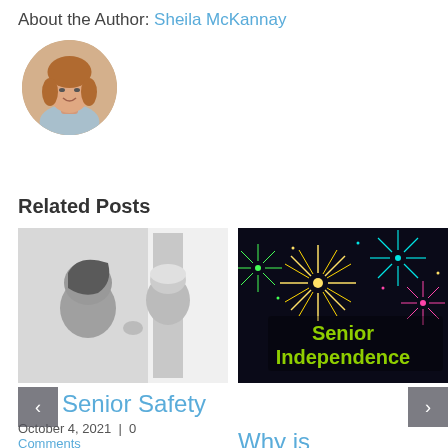About the Author: Sheila McKannay
[Figure (photo): Circular avatar photo of Sheila McKannay, a woman with medium-length auburn hair]
Related Posts
[Figure (photo): Black and white photo of a younger woman helping an elderly woman, likely a caregiver assisting a senior]
[Figure (photo): Colorful fireworks photo with green text overlay reading 'Senior Independence']
Senior Safety
October 4, 2021  |  0 Comments
Why is Independence Important to